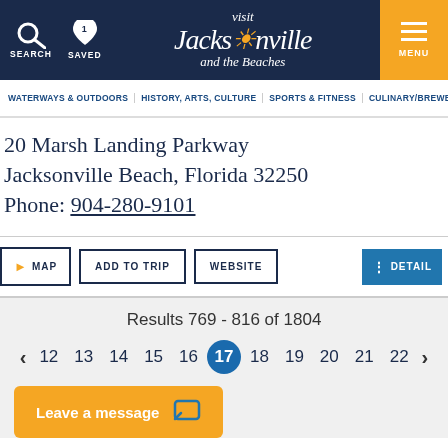Visit Jacksonville and the Beaches — SEARCH | SAVED 1 | MENU
WATERWAYS & OUTDOORS | HISTORY, ARTS, CULTURE | SPORTS & FITNESS | CULINARY/BREWERIES
20 Marsh Landing Parkway
Jacksonville Beach, Florida 32250
Phone: 904-280-9101
MAP | ADD TO TRIP | WEBSITE | DETAIL
Results 769 - 816 of 1804
12 13 14 15 16 17 18 19 20 21 22
Leave a message